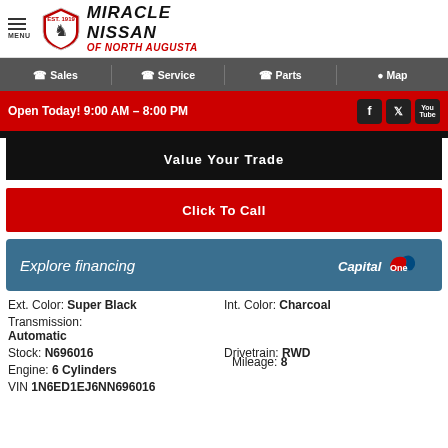MIRACLE NISSAN OF NORTH AUGUSTA
Sales | Service | Parts | Map
Open Today! 9:00 AM – 8:00 PM
Value Your Trade
Click To Call
Explore financing
Ext. Color: Super Black
Int. Color: Charcoal
Transmission: Automatic
Mileage: 8
Stock: N696016
Drivetrain: RWD
Engine: 6 Cylinders
VIN 1N6ED1EJ6NN696016